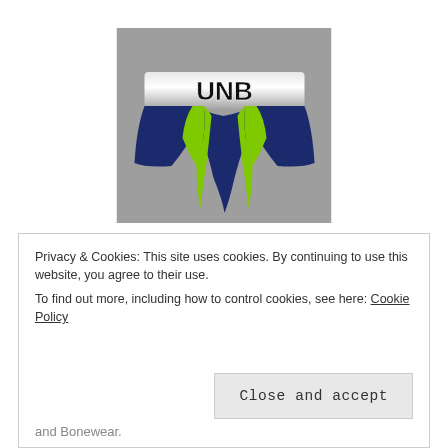[Figure (logo): UNB logo showing a jockstrap/brief underwear with a white waistband reading 'UNB' in bold black text, navy blue body with neon green accents, on a gray background]
We have another long and over due staff podcast. We talk about whats coming up with the site:
Privacy & Cookies: This site uses cookies. By continuing to use this website, you agree to their use.
To find out more, including how to control cookies, see here: Cookie Policy
and Bonewear.